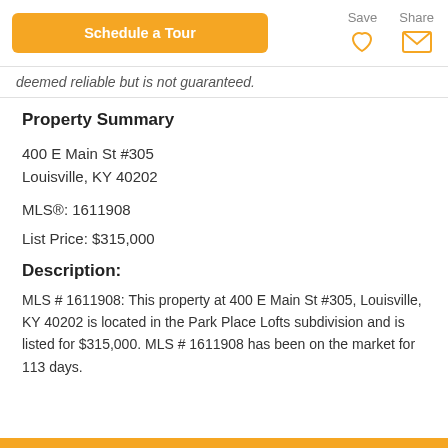Schedule a Tour | Save | Share
deemed reliable but is not guaranteed.
Property Summary
400 E Main St #305
Louisville, KY 40202
MLS®: 1611908
List Price: $315,000
Description:
MLS # 1611908: This property at 400 E Main St #305, Louisville, KY 40202 is located in the Park Place Lofts subdivision and is listed for $315,000. MLS # 1611908 has been on the market for 113 days.